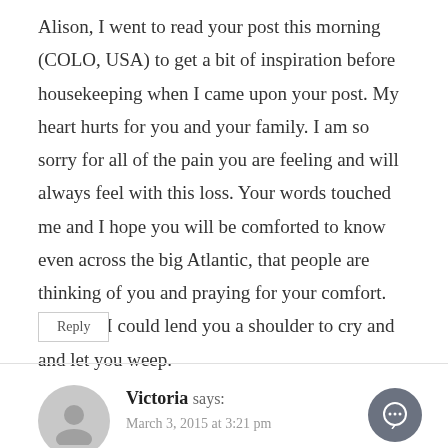Alison, I went to read your post this morning (COLO, USA) to get a bit of inspiration before housekeeping when I came upon your post. My heart hurts for you and your family. I am so sorry for all of the pain you are feeling and will always feel with this loss. Your words touched me and I hope you will be comforted to know even across the big Atlantic, that people are thinking of you and praying for your comfort. Wishing I could lend you a shoulder to cry and and let you weep.
Reply
Victoria says:
March 3, 2015 at 3:21 pm